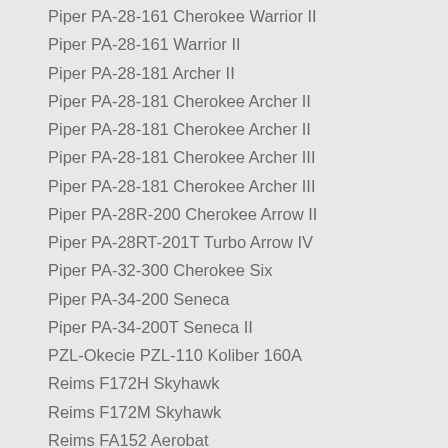Piper PA-28-161 Cherokee Warrior II
Piper PA-28-161 Warrior II
Piper PA-28-181 Archer II
Piper PA-28-181 Cherokee Archer II
Piper PA-28-181 Cherokee Archer II
Piper PA-28-181 Cherokee Archer III
Piper PA-28-181 Cherokee Archer III
Piper PA-28R-200 Cherokee Arrow II
Piper PA-28RT-201T Turbo Arrow IV
Piper PA-32-300 Cherokee Six
Piper PA-34-200 Seneca
Piper PA-34-200T Seneca II
PZL-Okecie PZL-110 Koliber 160A
Reims F172H Skyhawk
Reims F172M Skyhawk
Reims FA152 Aerobat
Robin DR-253B Regent
Robin DR-400-180
Robin DR-400-180 Regent